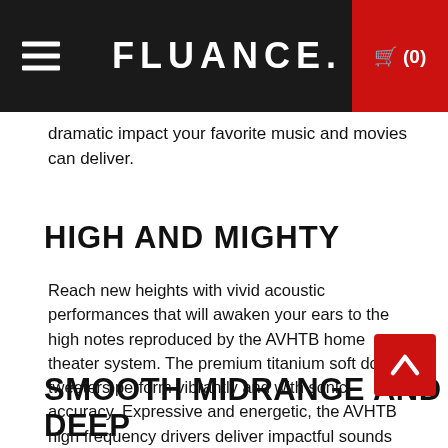FLUANCE. (0)
dramatic impact your favorite music and movies can deliver.
HIGH AND MIGHTY
Reach new heights with vivid acoustic performances that will awaken your ears to the high notes reproduced by the AVHTB home theater system. The premium titanium soft dome tweeters perform vibrantly and with sonic accuracy. Expressive and energetic, the AVHTB high frequency drivers deliver impactful sounds and effects with lifelike reproduction.
SMOOTH MIDRANGE AND DEEP